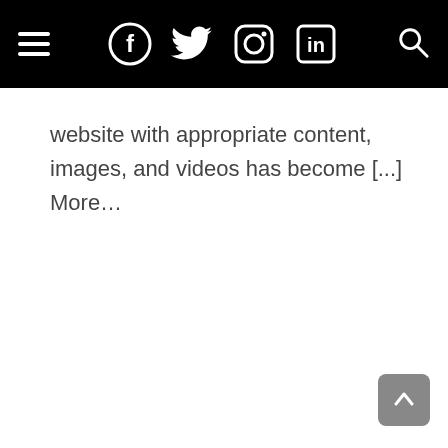[Navigation bar with hamburger menu, Facebook, Twitter, Instagram, LinkedIn icons, and search icon]
website with appropriate content, images, and videos has become [...] More…